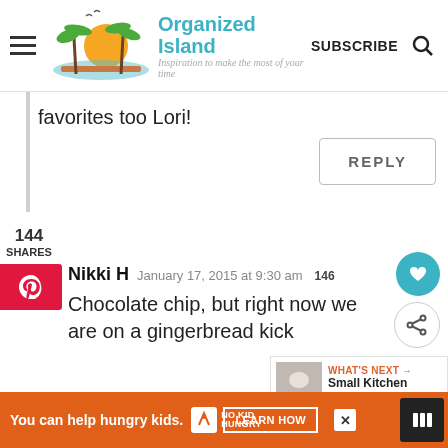[Figure (logo): Organized Island website header logo with palm trees, sun, and teal text reading 'Organized Island - Inspiration to make the most of your time']
favorites too Lori!
REPLY
144
SHARES
Nikki H   January 17, 2015 at 9:30 am
Chocolate chip, but right now we are on a gingerbread kick
WHAT'S NEXT → Small Kitchen Organizatio...
REPLY
You can help hungry kids.
NO KID HUNGRY
LEARN HOW